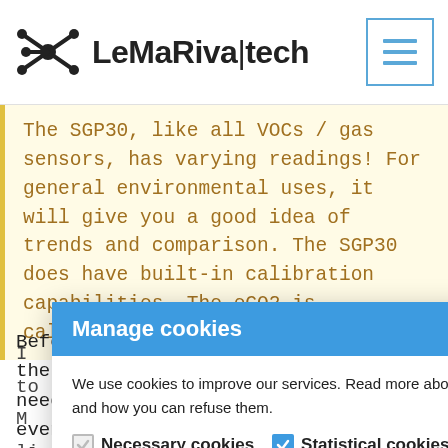LeMaRiva|tech
The SGP30, like all VOCs / gas sensors, has varying readings! For general environmental uses, it will give you a good idea of trends and comparison. The SGP30 does have built-in calibration capabilities. The eCO2 is calculated ...ot
Manage cookies
We use cookies to improve our services. Read more about how we use cookies and how you can refuse them.
Necessary cookies  Statistical cookies
SAVE SETTINGS
Before you upload the application to the M5Stack, you need to modify some files and eventually create a